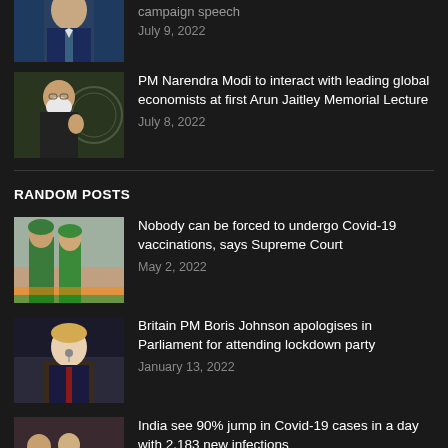[Figure (photo): Partial view of a man in suit at top of page (cropped)]
campaign speech
July 9, 2022
[Figure (photo): PM Narendra Modi gesturing with hands]
PM Narendra Modi to interact with leading global economists at first Arun Jaitley Memorial Lecture
July 8, 2022
RANDOM POSTS
[Figure (photo): Medical workers in green scrubs, vaccination scene]
Nobody can be forced to undergo Covid-19 vaccinations, says Supreme Court
May 2, 2022
[Figure (photo): Boris Johnson speaking at Parliament podium]
Britain PM Boris Johnson apologises in Parliament for attending lockdown party
January 13, 2022
[Figure (photo): People in a crowded setting, Covid vaccination scene]
India see 90% jump in Covid-19 cases in a day with 2,183 new infections
April 18, 2022